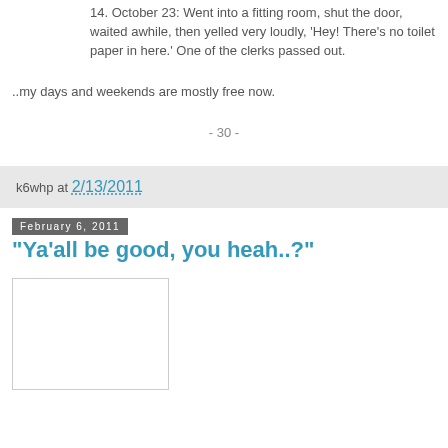14. October 23: Went into a fitting room, shut the door, waited awhile, then yelled very loudly, 'Hey! There's no toilet paper in here.' One of the clerks passed out.
..my days and weekends are mostly free now.
- 30 -
k6whp at 2/13/2011
February 6, 2011
"Ya'all be good, you heah..?"
[Figure (photo): A white/blank image placeholder in the lower left area of the page]